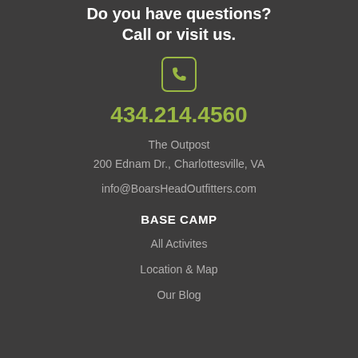Do you have questions? Call or visit us.
[Figure (illustration): Phone/call icon in a square with rounded corners, olive/green color]
434.214.4560
The Outpost
200 Ednam Dr., Charlottesville, VA
info@BoarsHeadOutfitters.com
BASE CAMP
All Activites
Location & Map
Our Blog